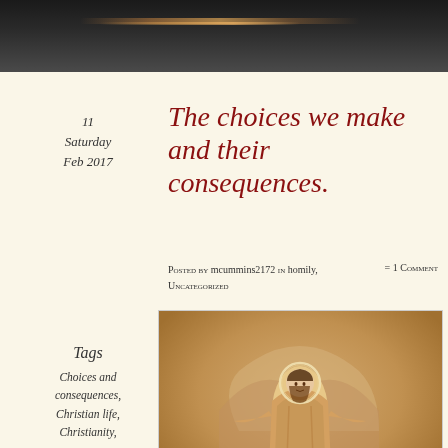[Figure (photo): Dark atmospheric header image with a diagonal light streak/comet against a dark background]
11
Saturday
Feb 2017
The choices we make and their consequences.
Posted by mcummins2172 in homily, Uncategorized
= 1 Comment
Tags
Choices and consequences, Christian life, Christianity,
[Figure (illustration): Byzantine-style icon painting showing Jesus Christ seated centrally with a halo, surrounded by disciples/apostles in an orange-gold color palette]